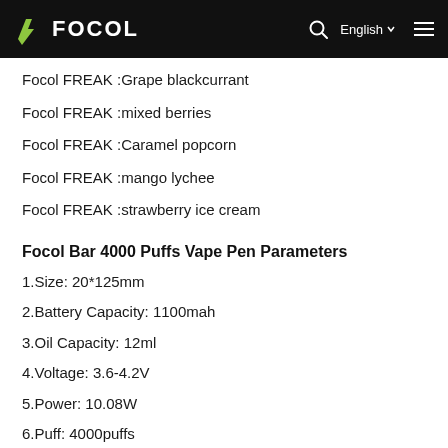FOCOL | English
Focol FREAK :Grape blackcurrant
Focol FREAK :mixed berries
Focol FREAK :Caramel popcorn
Focol FREAK :mango lychee
Focol FREAK :strawberry ice cream
Focol Bar 4000 Puffs Vape Pen Parameters
1.Size: 20*125mm
2.Battery Capacity: 1100mah
3.Oil Capacity: 12ml
4.Voltage: 3.6-4.2V
5.Power: 10.08W
6.Puff: 4000puffs